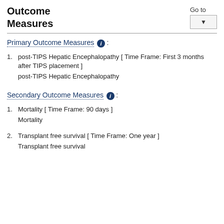Outcome Measures
Go to
Primary Outcome Measures :
post-TIPS Hepatic Encephalopathy [ Time Frame: First 3 months after TIPS placement ]
post-TIPS Hepatic Encephalopathy
Secondary Outcome Measures :
Mortality [ Time Frame: 90 days ]
Mortality
Transplant free survival [ Time Frame: One year ]
Transplant free survival